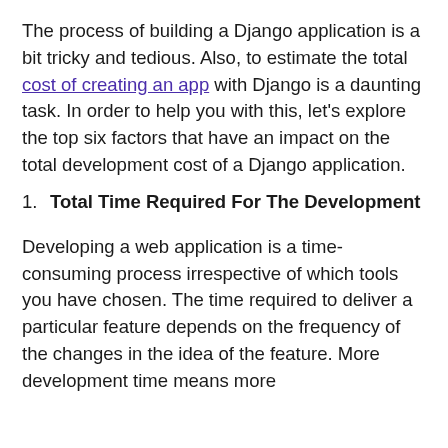The process of building a Django application is a bit tricky and tedious. Also, to estimate the total cost of creating an app with Django is a daunting task. In order to help you with this, let's explore the top six factors that have an impact on the total development cost of a Django application.
1. Total Time Required For The Development
Developing a web application is a time-consuming process irrespective of which tools you have chosen. The time required to deliver a particular feature depends on the frequency of the changes in the idea of the feature. More development time means more